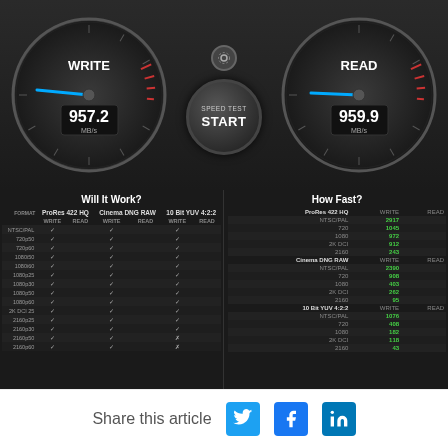[Figure (screenshot): DiskSpeedTest app screenshot showing two speedometer gauges: WRITE at 957.2 MB/s and READ at 959.9 MB/s, with a SPEED TEST START button in the center. Below are two data panels: 'Will It Work?' showing checkmarks/crosses for ProRes 422 HQ, Cinema DNG RAW, and 10 Bit YUV 4:2:2 formats across various resolutions, and 'How Fast?' showing write/read speeds in MB/s for same formats.]
Share this article